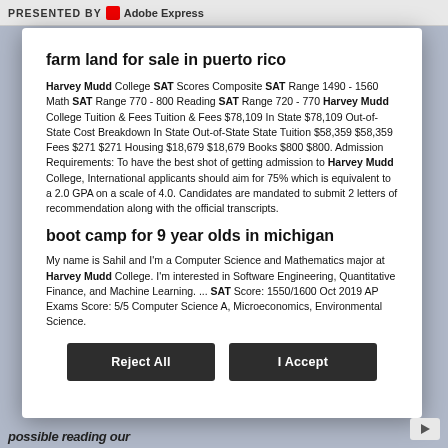PRESENTED BY Adobe Express
farm land for sale in puerto rico
Harvey Mudd College SAT Scores Composite SAT Range 1490 - 1560 Math SAT Range 770 - 800 Reading SAT Range 720 - 770 Harvey Mudd College Tuition & Fees Tuition & Fees $78,109 In State $78,109 Out-of-State Cost Breakdown In State Out-of-State State Tuition $58,359 $58,359 Fees $271 $271 Housing $18,679 $18,679 Books $800 $800. Admission Requirements: To have the best shot of getting admission to Harvey Mudd College, International applicants should aim for 75% which is equivalent to a 2.0 GPA on a scale of 4.0. Candidates are mandated to submit 2 letters of recommendation along with the official transcripts.
boot camp for 9 year olds in michigan
My name is Sahil and I'm a Computer Science and Mathematics major at Harvey Mudd College. I'm interested in Software Engineering, Quantitative Finance, and Machine Learning. ... SAT Score: 1550/1600 Oct 2019 AP Exams Score: 5/5 Computer Science A, Microeconomics, Environmental Science.
Reject All
I Accept